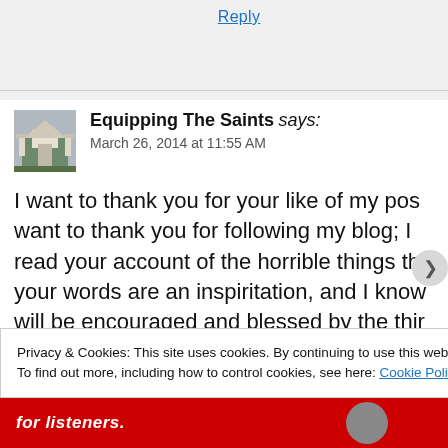Reply
[Figure (photo): Avatar photo of a building with columns, likely a church or civic building]
Equipping The Saints says:
March 26, 2014 at 11:55 AM
I want to thank you for your like of my pos… want to thank you for following my blog; I read your account of the horrible things th… your words are an inspiritation, and I know will be encouraged and blessed by the thir… know how much I am glad to have you as
Privacy & Cookies: This site uses cookies. By continuing to use this website, you agree to their use.
To find out more, including how to control cookies, see here: Cookie Policy
Close and accept
for listeners.